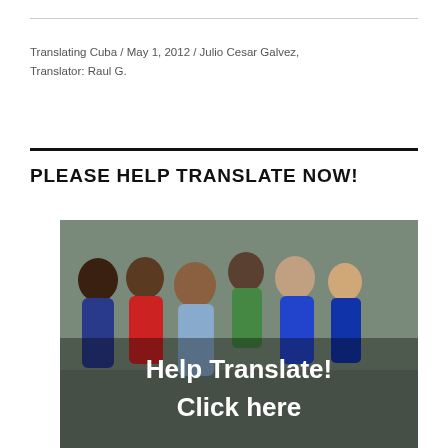Translating Cuba / May 1, 2012 / Julio Cesar Galvez, Translator: Raul G.
PLEASE HELP TRANSLATE NOW!
[Figure (photo): Group of children posing together outdoors with text overlay reading 'Help Translate! Click here']